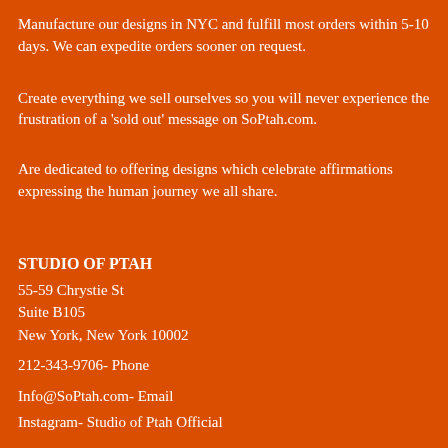Manufacture our designs in NYC and fulfill most orders within 5-10 days. We can expedite orders sooner on request.
Create everything we sell ourselves so you will never experience the frustration of a 'sold out' message on SoPtah.com.
Are dedicated to offering designs which celebrate affirmations expressing the human journey we all share.
STUDIO OF PTAH
55-59 Chrystie St
Suite B105
New York, New York 10002
212-343-9706- Phone
Info@SoPtah.com- Email
Instagram- Studio of Ptah Official